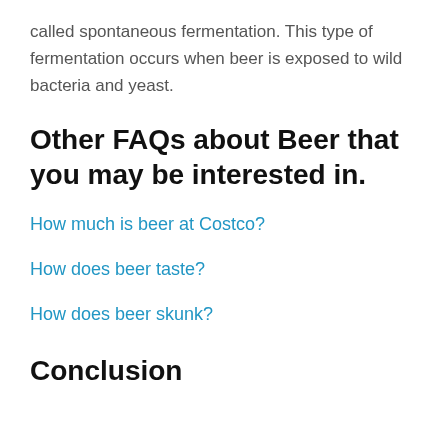called spontaneous fermentation. This type of fermentation occurs when beer is exposed to wild bacteria and yeast.
Other FAQs about Beer that you may be interested in.
How much is beer at Costco?
How does beer taste?
How does beer skunk?
Conclusion